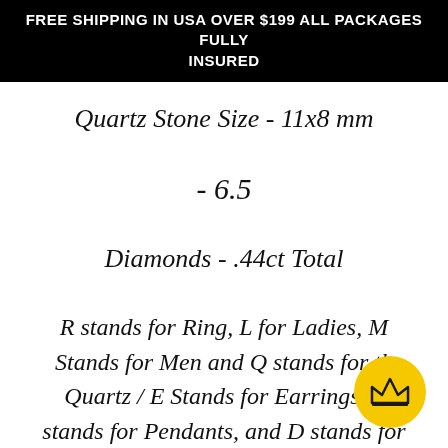FREE SHIPPING IN USA OVER $199 ALL PACKAGES FULLY INSURED
Quartz Stone Size - 11x8 mm
- 6.5
Diamonds - .44ct Total
R stands for Ring, L for Ladies, M Stands for Men and Q stands for the Quartz / E Stands for Earrings, and stands for Pendants, and D stands for
[Figure (illustration): Yellow circle badge with a crown icon]